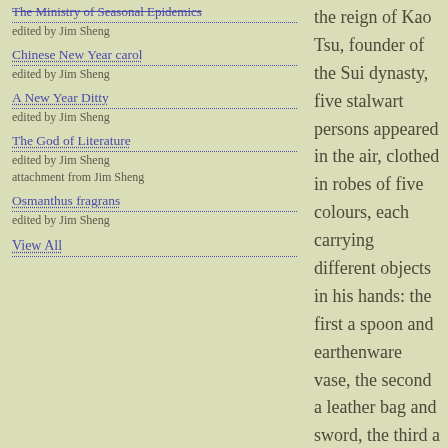The Ministry of Seasonal Epidemics
edited by Jim Sheng
Chinese New Year carol
edited by Jim Sheng
A New Year Ditty
edited by Jim Sheng
The God of Literature
edited by Jim Sheng
attachment from Jim Sheng
Osmanthus fragrans
edited by Jim Sheng
View All
the reign of Kao Tsu, founder of the Sui dynasty, five stalwart persons appeared in the air, clothed in robes of five colours, each carrying different objects in his hands: the first a spoon and earthenware vase, the second a leather bag and sword, the third a fan, the fourth a club, the fifth a jug of fire. The Emperor asked Chang Chü-jên, his Grand